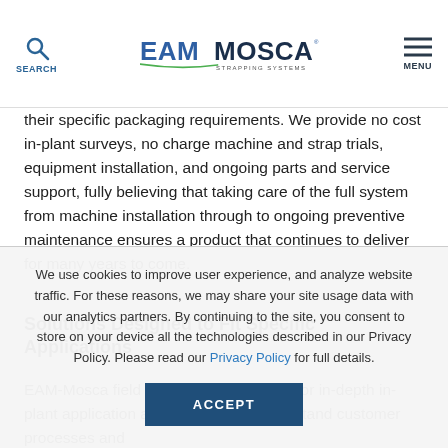SEARCH | EAM MOSCA STRAPPING SYSTEMS | MENU
their specific packaging requirements. We provide no cost in-plant surveys, no charge machine and strap trials, equipment installation, and ongoing parts and service support, fully believing that taking care of the full system from machine installation through to ongoing preventive maintenance ensures a product that continues to deliver for many years to come.
Solutions Designed to Fit Specific Applications
EAM-Mosca field engineers are trained for in-depth in-plant application analyses to fully understand customer processes and
We use cookies to improve user experience, and analyze website traffic. For these reasons, we may share your site usage data with our analytics partners. By continuing to the site, you consent to store on your device all the technologies described in our Privacy Policy. Please read our Privacy Policy for full details.
ACCEPT